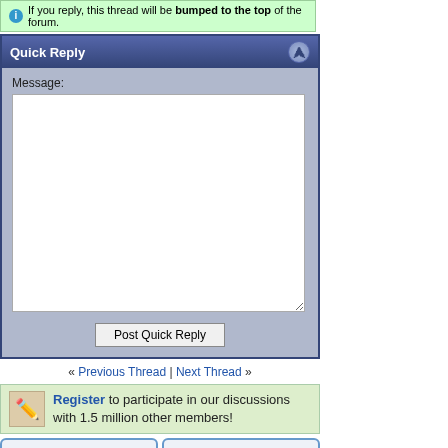If you reply, this thread will be bumped to the top of the forum.
Quick Reply
Message:
[Figure (screenshot): Empty text area for composing a quick reply message]
Post Quick Reply
« Previous Thread | Next Thread »
Register to participate in our discussions with 1.5 million other members!
Search the Web
Search Forums (Advanced)